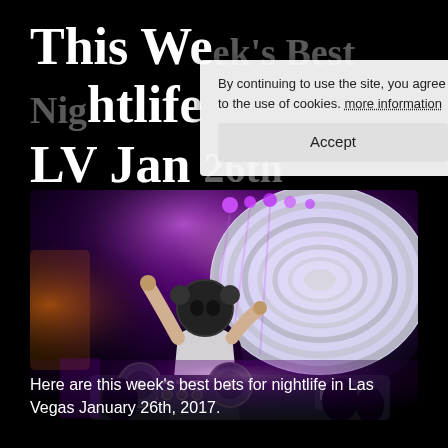This Week's Best Nightlife LV Jan 26th
By continuing to use the site, you agree to the use of cookies. more information Accept
[Figure (photo): DJ performing at a nightclub with a large LED screen behind them displaying colorful patterns, purple and red stage lighting, fisheye lens perspective showing DJ equipment in foreground and audience in background]
Here are this week's best bets for nightlife in Las Vegas January 26th, 2017.